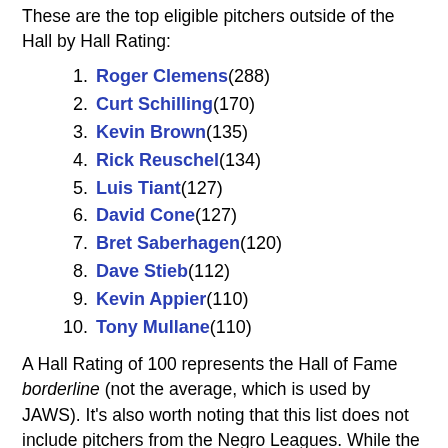These are the top eligible pitchers outside of the Hall by Hall Rating:
1. Roger Clemens (288)
2. Curt Schilling (170)
3. Kevin Brown (135)
4. Rick Reuschel (134)
5. Luis Tiant (127)
6. David Cone (127)
7. Bret Saberhagen (120)
8. Dave Stieb (112)
9. Kevin Appier (110)
10. Tony Mullane (110)
A Hall Rating of 100 represents the Hall of Fame borderline (not the average, which is used by JAWS). It’s also worth noting that this list does not include pitchers from the Negro Leagues. While the Seamheads Negro Leagues Database